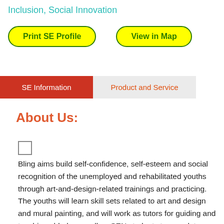Inclusion, Social Innovation
Print SE Profile
View in Map
SE Information
Product and Service
About Us:
Bling aims build self-confidence, self-esteem and social recognition of the unemployed and rehabilitated youths through art-and-design-related trainings and practicing. The youths will learn skill sets related to art and design and mural painting, and will work as tutors for guiding and teaching elderly as well as SEN students to complete